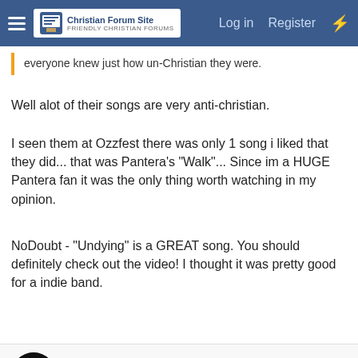Christian Forum Site | Log in | Register
everyone knew just how un-Christian they were.
Well alot of their songs are very anti-christian.
I seen them at Ozzfest there was only 1 song i liked that they did... that was Pantera's "Walk"... Since im a HUGE Pantera fan it was the only thing worth watching in my opinion.
NoDoubt - "Undying" is a GREAT song. You should definitely check out the video! I thought it was pretty good for a indie band.
Panda
Sr Mod/Webmaster
Staff member | Senior Moderator
Jun 18, 2007
#9
BlueMark said: